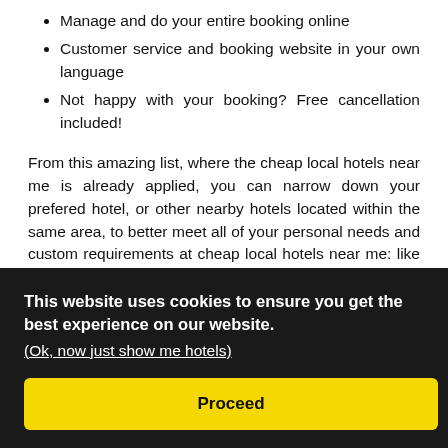Manage and do your entire booking online
Customer service and booking website in your own language
Not happy with your booking? Free cancellation included!
From this amazing list, where the cheap local hotels near me is already applied, you can narrow down your prefered hotel, or other nearby hotels located within the same area, to better meet all of your personal needs and custom requirements at cheap local hotels near me: like the location, [partially obscured by cookie banner] ...mming ...rall er
[Figure (screenshot): Cookie consent overlay with dark background. Text: 'This website uses cookies to ensure you get the best experience on our website.' with link '(Ok, now just show me hotels)' and a yellow 'Proceed' button.]
...hotels ...rdable ...cheap local hotels near me, a low budget or a 5 star hotel